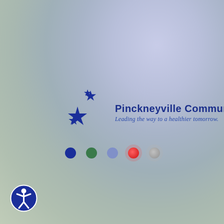[Figure (logo): Pinckneyville Community Hospital logo with blue stars on the left and the text 'Pinckneyville Community Hospital' above the italic tagline 'Leading the way to a healthier tomorrow.' Navigation dots (blue, green, light blue, red, gray) below the logo. Accessibility icon in bottom-left corner.]